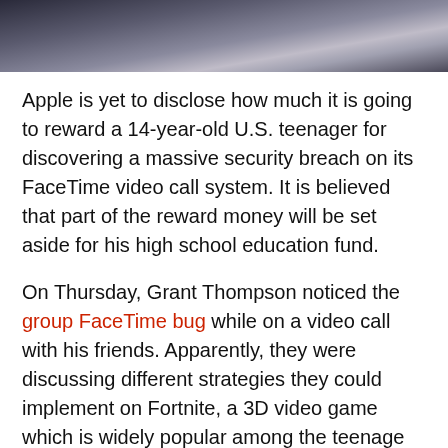[Figure (photo): Cropped photo showing a person in a dark suit adjusting a tie, only the lower neck/chest area visible]
Apple is yet to disclose how much it is going to reward a 14-year-old U.S. teenager for discovering a massive security breach on its FaceTime video call system. It is believed that part of the reward money will be set aside for his high school education fund.
On Thursday, Grant Thompson noticed the group FaceTime bug while on a video call with his friends. Apparently, they were discussing different strategies they could implement on Fortnite, a 3D video game which is widely popular among the teenage demographic.
Upon contacting Apple, necessary action was